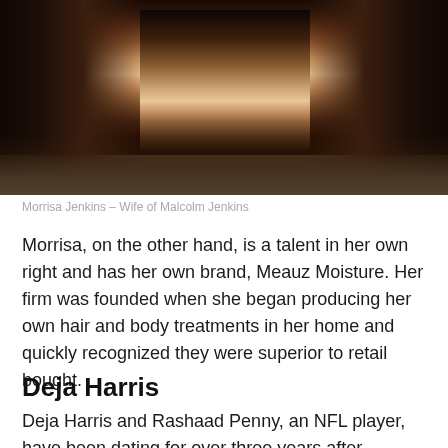[Figure (photo): Partial photo of a person, cropped showing neck/collar area with dark hair on sides, blurred gradient at bottom]
Morrisa Jenkins – Wife of Malcolm Jenkins
Morrisa, on the other hand, is a talent in her own right and has her own brand, Meauz Moisture. Her firm was founded when she began producing her own hair and body treatments in her home and quickly recognized they were superior to retail bought.
Deja Harris
Deja Harris and Rashaad Penny, an NFL player, have been dating for over three years after